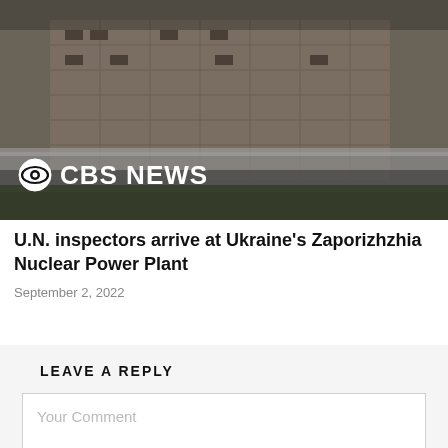[Figure (photo): Photo of the Zaporizhzhia Nuclear Power Plant building with CBS News logo overlay]
U.N. inspectors arrive at Ukraine's Zaporizhzhia Nuclear Power Plant
September 2, 2022
LEAVE A REPLY
Your Comment